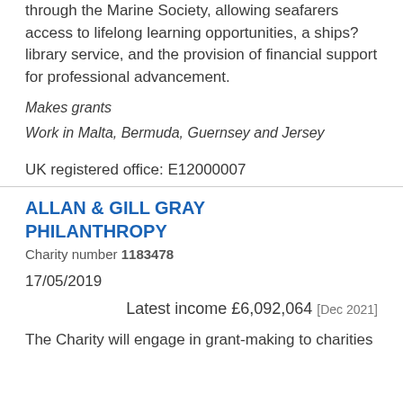through the Marine Society, allowing seafarers access to lifelong learning opportunities, a ships? library service, and the provision of financial support for professional advancement.
Makes grants
Work in Malta, Bermuda, Guernsey and Jersey
UK registered office: E12000007
ALLAN & GILL GRAY PHILANTHROPY
Charity number 1183478
17/05/2019
Latest income £6,092,064 [Dec 2021]
The Charity will engage in grant-making to charities